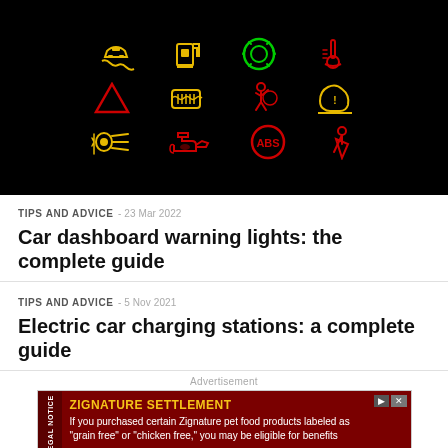[Figure (photo): Car dashboard warning lights on black background, arranged in a 3x4 grid. Row 1: yellow traction control/skid car, yellow fuel pump, green brake disc symbol, red engine coolant temperature. Row 2: red triangle warning, yellow rear windshield defrost, red pedestrian/person with airbag, yellow tire pressure (TPMS). Row 3: yellow headlight fog light, red oil can/engine oil, red ABS circle, red seatbelt reminder.]
TIPS AND ADVICE  - 23 Mar 2022
Car dashboard warning lights: the complete guide
TIPS AND ADVICE  - 5 Nov 2021
Electric car charging stations: a complete guide
Advertisement
[Figure (infographic): Advertisement banner for Zignature Settlement legal notice. Dark red background with yellow bold text 'ZIGNATURE SETTLEMENT' and white body text: 'If you purchased certain Zignature pet food products labeled as "grain free" or "chicken free," you may be eligible for benefits'. Has a 'LEGAL NOTICE' vertical label on the left side.]